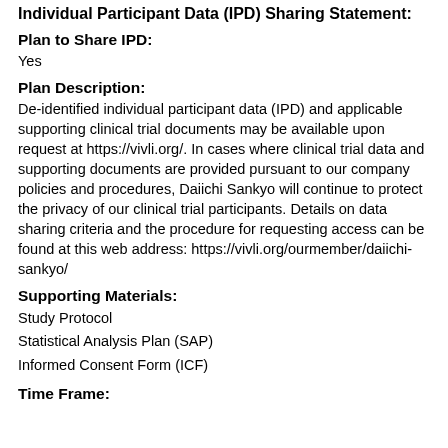Individual Participant Data (IPD) Sharing Statement:
Plan to Share IPD:
Yes
Plan Description:
De-identified individual participant data (IPD) and applicable supporting clinical trial documents may be available upon request at https://vivli.org/. In cases where clinical trial data and supporting documents are provided pursuant to our company policies and procedures, Daiichi Sankyo will continue to protect the privacy of our clinical trial participants. Details on data sharing criteria and the procedure for requesting access can be found at this web address: https://vivli.org/ourmember/daiichi-sankyo/
Supporting Materials:
Study Protocol
Statistical Analysis Plan (SAP)
Informed Consent Form (ICF)
Time Frame: